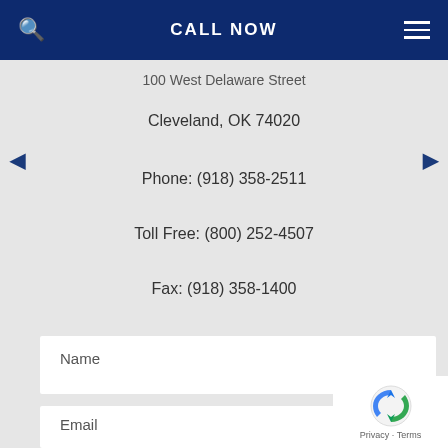CALL NOW
100 West Delaware Street
Cleveland, OK 74020
Phone: (918) 358-2511
Toll Free: (800) 252-4507
Fax: (918) 358-1400
Name
Email